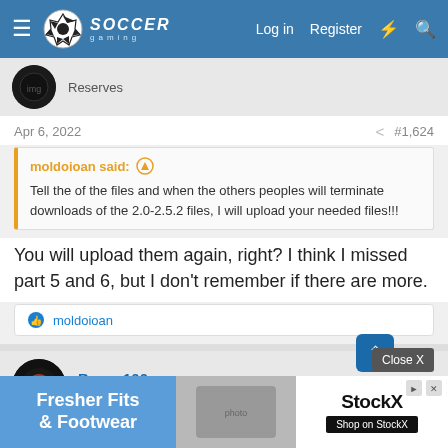Soccer Gaming — Log in | Register
Reserves
Apr 6, 2022  #1,624
moldoioan said: Tell the of the files and when the others peoples will terminate downloads of the 2.0-2.5.2 files, I will upload your needed files!!!
You will upload them again, right? I think I missed part 5 and 6, but I don't remember if there are more.
moldoioan
Benya100
Reserves
Apr 6, 2022  #1,625
moldoi...
[Figure (screenshot): Advertisement banner: Fresher Fits & Footwear | StockX Shop on StockX]
Close X